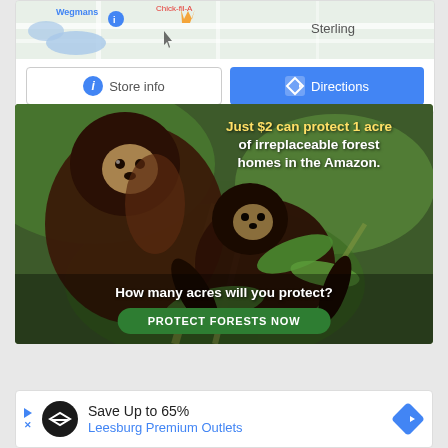[Figure (screenshot): Google Maps snippet showing Wegmans and Chick-fil-A pins with Sterling label visible, with Store info and Directions buttons below]
[Figure (photo): Advertisement showing two brown capuchin monkeys in Amazon forest greenery. Text overlay reads 'Just $2 can protect 1 acre of irreplaceable forest homes in the Amazon.' and 'How many acres will you protect?' with a green 'PROTECT FORESTS NOW' button.]
[Figure (screenshot): Advertisement banner: Save Up to 65% Leesburg Premium Outlets with logo and directions icon]